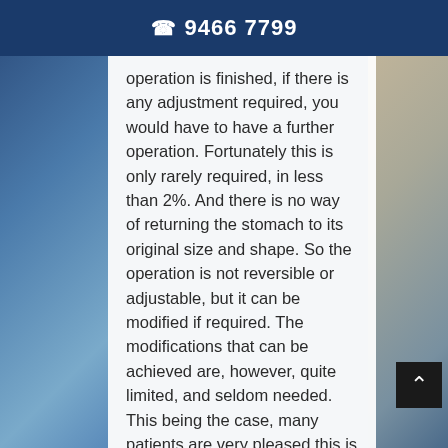☎ 9466 7799
operation is finished, if there is any adjustment required, you would have to have a further operation. Fortunately this is only rarely required, in less than 2%. And there is no way of returning the stomach to its original size and shape. So the operation is not reversible or adjustable, but it can be modified if required. The modifications that can be achieved are, however, quite limited, and seldom needed. This being the case, many patients are very pleased this is the case. Their weight problem was not temporary and was not reversible, so why should the solution be reversible?